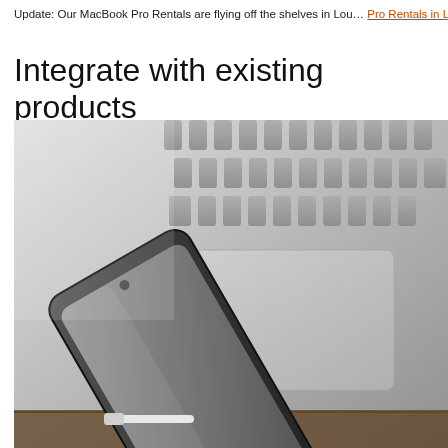Update: Our MacBook Pro Rentals are flying off the shelves in Louisville! Check out our MacBook Pro Rentals in Louisville, and our wide variety of Louisville Event Tech
Integrate with existing products
[Figure (photo): Close-up photo of a smartphone lying diagonally on a laptop keyboard/trackpad. The smartphone has a black case and a white charging cable is plugged into its bottom. The laptop appears to be a silver MacBook. The image shows the keyboard keys and trackpad area.]